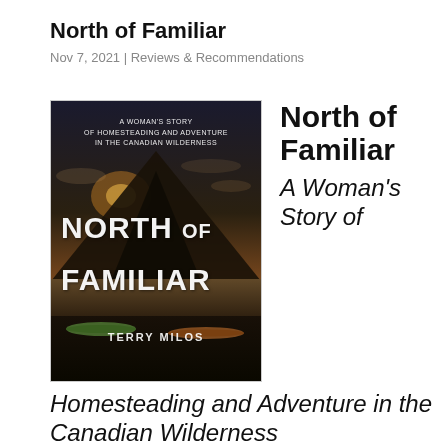North of Familiar
Nov 7, 2021 | Reviews & Recommendations
[Figure (photo): Book cover of 'North of Familiar' by Terry Milos. Features a dramatic mountain landscape at sunset with kayaks in the foreground. Text reads: A Woman's Story of Homesteading and Adventure in the Canadian Wilderness. NORTH OF FAMILIAR. TERRY MILOS.]
North of Familiar
A Woman's Story of
Homesteading and Adventure in the Canadian Wilderness